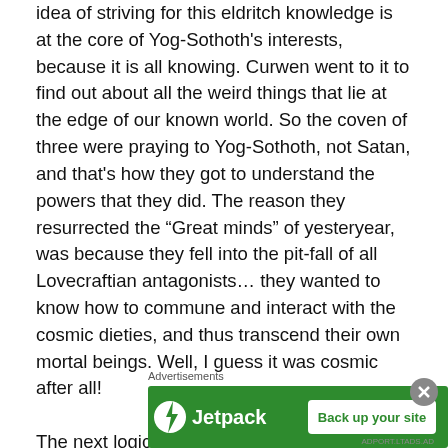idea of striving for this eldritch knowledge is at the core of Yog-Sothoth's interests, because it is all knowing. Curwen went to it to find out about all the weird things that lie at the edge of our known world. So the coven of three were praying to Yog-Sothoth, not Satan, and that's how they got to understand the powers that they did. The reason they resurrected the “Great minds” of yesteryear, was because they fell into the pit-fall of all Lovecraftian antagonists… they wanted to know how to commune and interact with the cosmic dieties, and thus transcend their own mortal beings. Well, I guess it was cosmic after all!

The next logical step that I would take, is that this novel was written in 1927, and it's the first time Yog-Sothoth was
Advertisements
[Figure (other): Jetpack advertisement banner with green background. Left side shows Jetpack logo (white circle with lightning bolt icon) and 'Jetpack' text in white. Right side has a white button reading 'Back up your site' in green text.]